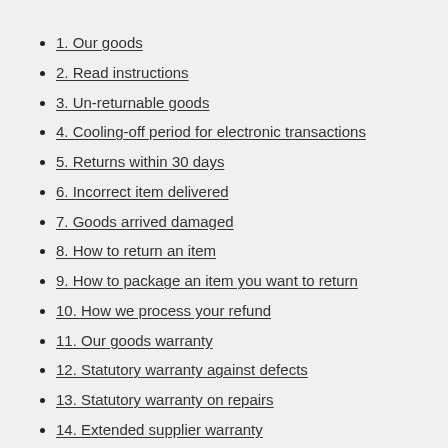1. Our goods
2. Read instructions
3. Un-returnable goods
4. Cooling-off period for electronic transactions
5. Returns within 30 days
6. Incorrect item delivered
7. Goods arrived damaged
8. How to return an item
9. How to package an item you want to return
10. How we process your refund
11. Our goods warranty
12. Statutory warranty against defects
13. Statutory warranty on repairs
14. Extended supplier warranty
15. Inspection of defective goods
16. Statutory right to return unsuitable goods
17. Invalidation of warranties and right to return